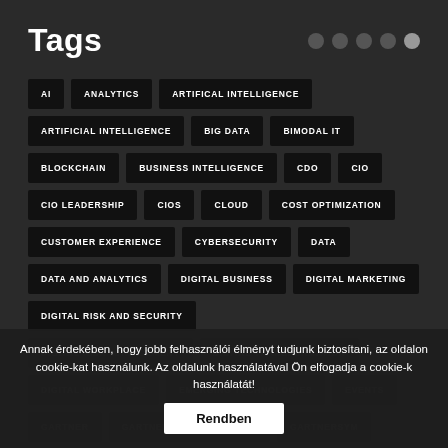Tags
AI
ANALYTICS
ARTIFICAL INTELLIGENCE
ARTIFICIAL INTELLIGENCE
BIG DATA
BIMODAL IT
BLOCKCHAIN
BUSINESS INTELLIGENCE
CDO
CIO
CIO LEADERSHIP
CIOS
CLOUD
COST OPTIMIZATION
CUSTOMER EXPERIENCE
CYBERSECURITY
DATA
DATA AND ANALYTICS
DIGITAL BUSINESS
DIGITAL MARKETING
DIGITAL RISK AND SECURITY
DIGITAL RISK MANAGEMENT
DIGITAL TRANSFORMATION
DIGITAL WORKPLACE
EMERGING TECHNOLOGIES
EVENTS
GARTNER
GARTNER FOR MARKETERS
GARTNERSYM
Annak érdekében, hogy jobb felhasználói élményt tudjunk biztosítani, az oldalon cookie-kat használunk. Az oldalunk használatával Ön elfogadja a cookie-k használatát!
Rendben